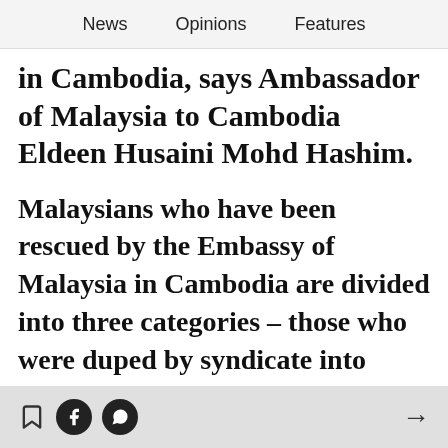News   Opinions   Features
in Cambodia, says Ambassador of Malaysia to Cambodia Eldeen Husaini Mohd Hashim.
Malaysians who have been rescued by the Embassy of Malaysia in Cambodia are divided into three categories – those who were duped by syndicate into working overseas; those unaware of the nature of their jobs in Cambodia but willing to enter the country